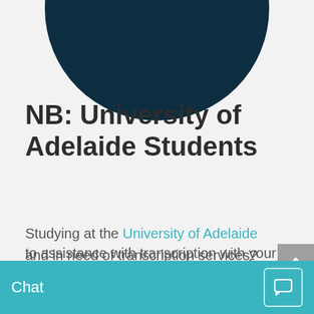[Figure (logo): University of Adelaide circular logo — dark navy background with 'of ADELAIDE' text visible at top, partially cropped]
NB: University of Adelaide Students
Studying at the University of Adelaide and in need of transcription services? We have fast and efficient captioning and transcription
to assistance with transcription with your